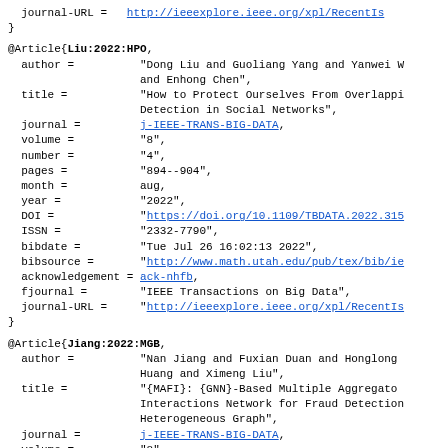journal-URL =   http://ieeexplore.ieee.org/xpl/RecentIs
}
@Article{Liu:2022:HPO,
  author =          "Dong Liu and Guoliang Yang and Yanwei W
                   and Enhong Chen",
  title =           "How to Protect Ourselves From Overlapp
                   Detection in Social Networks",
  journal =         j-IEEE-TRANS-BIG-DATA,
  volume =          "8",
  number =          "4",
  pages =           "894--904",
  month =           aug,
  year =            "2022",
  DOI =             "https://doi.org/10.1109/TBDATA.2022.315
  ISSN =            "2332-7790",
  bibdate =         "Tue Jul 26 16:02:13 2022",
  bibsource =       "http://www.math.utah.edu/pub/tex/bib/ie
  acknowledgement = ack-nhfb,
  fjournal =        "IEEE Transactions on Big Data",
  journal-URL =     "http://ieeexplore.ieee.org/xpl/RecentIs
}
@Article{Jiang:2022:MGB,
  author =          "Nan Jiang and Fuxian Duan and Honglong
                   Huang and Ximeng Liu",
  title =           "{MAFI}: {GNN}-Based Multiple Aggregato
                   Interactions Network for Fraud Detection
                   Heterogeneous Graph",
  journal =         j-IEEE-TRANS-BIG-DATA,
  volume =          "8",